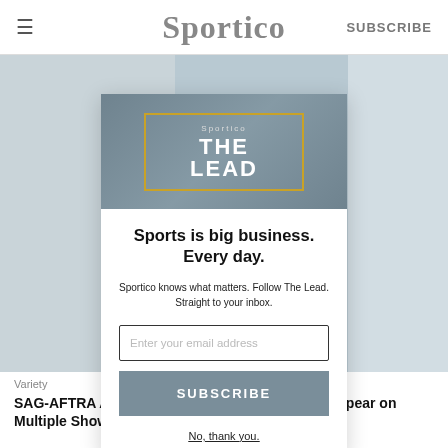≡  Sportico  SUBSCRIBE
[Figure (screenshot): Sportico 'The Lead' newsletter subscription modal over a blurred city background. Modal contains a banner image with 'THE LEAD' text, headline 'Sports is big business. Every day.', subtext about Sportico newsletter, email input field, Subscribe button, and 'No, thank you.' link.]
Sports is big business. Every day.
Sportico knows what matters. Follow The Lead. Straight to your inbox.
Enter your email address
SUBSCRIBE
No, thank you.
Variety
SAG-AFTRA Approves Deal Allowing Actors to Appear on Multiple Shows